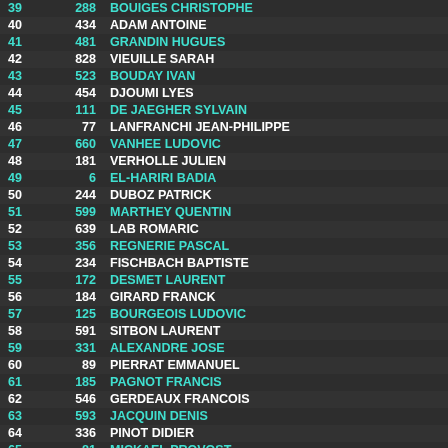| Rank | Num | Name |
| --- | --- | --- |
| 39 | 288 | BOUIGES CHRISTOPHE |
| 40 | 434 | ADAM ANTOINE |
| 41 | 481 | GRANDIN HUGUES |
| 42 | 828 | VIEUILLE SARAH |
| 43 | 523 | BOUDAY IVAN |
| 44 | 454 | DJOUMI LYES |
| 45 | 111 | DE JAEGHER SYLVAIN |
| 46 | 77 | LANFRANCHI JEAN-PHILIPPE |
| 47 | 660 | VANHEE LUDOVIC |
| 48 | 181 | VERHOLLE JULIEN |
| 49 | 6 | EL-HARIRI BADIA |
| 50 | 244 | DUBOZ PATRICK |
| 51 | 599 | MARTHEY QUENTIN |
| 52 | 639 | LAB ROMARIC |
| 53 | 356 | REGNERIE PASCAL |
| 54 | 234 | FISCHBACH BAPTISTE |
| 55 | 172 | DESMET LAURENT |
| 56 | 184 | GIRARD FRANCK |
| 57 | 125 | BOURGEOIS LUDOVIC |
| 58 | 591 | SITBON LAURENT |
| 59 | 331 | ALEXANDRE JOSE |
| 60 | 89 | PIERRAT EMMANUEL |
| 61 | 185 | PAGNOT FRANCIS |
| 62 | 546 | GERDEAUX FRANCOIS |
| 63 | 593 | JACQUIN DENIS |
| 64 | 336 | PINOT DIDIER |
| 65 | 81 | MICKAEL PROVOST |
| 66 | 180 | KIRILUK SARAH |
| 67 | 700 | GABET YANN |
| 68 | 529 | GRILLOT ANTHONY |